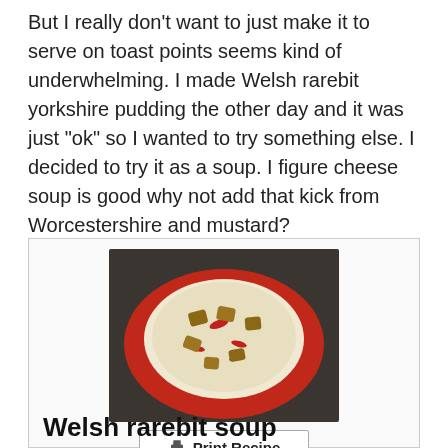But I really don't want to just make it to serve on toast points seems kind of underwhelming. I made Welsh rarebit yorkshire pudding the other day and it was just "ok" so I wanted to try something else. I decided to try it as a soup. I figure cheese soup is good why not add that kick from Worcestershire and mustard?
[Figure (photo): A red bowl containing a creamy white soup topped with small croutons and red pepper pieces, photographed from above on a dark surface.]
Print Recipe
Welsh rarebit soup